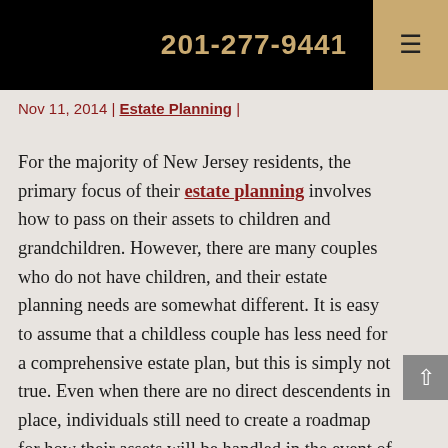201-277-9441
Nov 11, 2014 | Estate Planning |
For the majority of New Jersey residents, the primary focus of their estate planning involves how to pass on their assets to children and grandchildren. However, there are many couples who do not have children, and their estate planning needs are somewhat different. It is easy to assume that a childless couple has less need for a comprehensive estate plan, but this is simply not true. Even when there are no direct descendents in place, individuals still need to create a roadmap for how their assets will be handled in the event of their death.